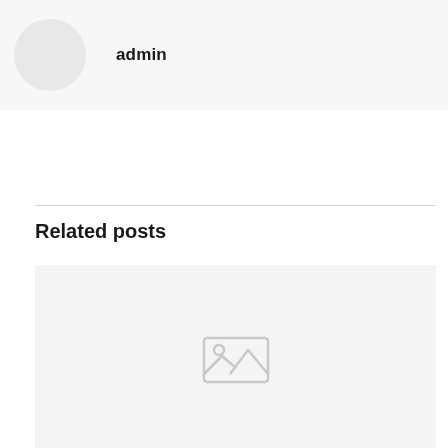admin
Related posts
[Figure (illustration): Placeholder image icon showing a broken/missing image symbol — a gray mountain/landscape icon on a light gray background]
August 20, 2022
Job Satisfaction vs. Organizational Commitment This assignment will build on
Read